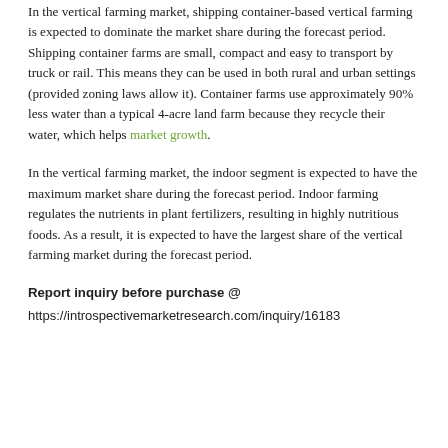In the vertical farming market, shipping container-based vertical farming is expected to dominate the market share during the forecast period. Shipping container farms are small, compact and easy to transport by truck or rail. This means they can be used in both rural and urban settings (provided zoning laws allow it). Container farms use approximately 90% less water than a typical 4-acre land farm because they recycle their water, which helps market growth.
In the vertical farming market, the indoor segment is expected to have the maximum market share during the forecast period. Indoor farming regulates the nutrients in plant fertilizers, resulting in highly nutritious foods. As a result, it is expected to have the largest share of the vertical farming market during the forecast period.
Report inquiry before purchase @
https://introspectivemarketresearch.com/inquiry/16183